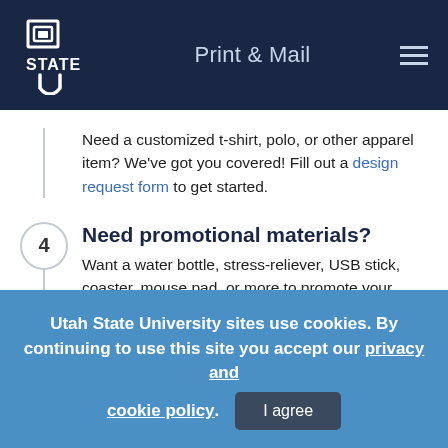Print & Mail
Need a customized t-shirt, polo, or other apparel item? We've got you covered! Fill out a design request form to get started.
4 Need promotional materials?
Want a water bottle, stress-reliever, USB stick, coaster, mouse pad, or more to promote your department or student event? Find a wide variety
Utah State University sites use cookies. By continuing to use this site you accept our privacy and cookie policy. I agree